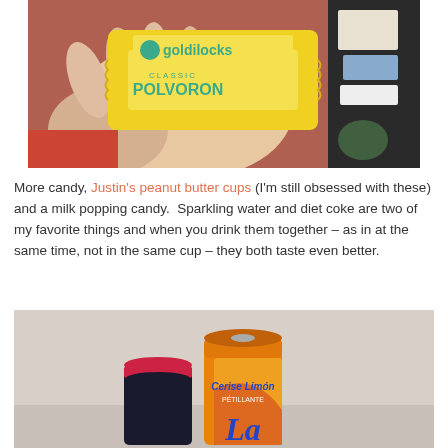[Figure (photo): A hand holding a yellow Goldilocks Classic Polvoron candy wrapper with a red fabric background and a bag in the upper right.]
More candy, Justin's peanut butter cups (I'm still obsessed with these) and a milk popping candy.  Sparkling water and diet coke are two of my favorite things and when you drink them together – as in at the same time, not in the same cup – they both taste even better.
[Figure (photo): Two beverage cans: a dark can with pink top and an orange/yellow La Croix Cerise Limon sparkling water can, on a light surface.]